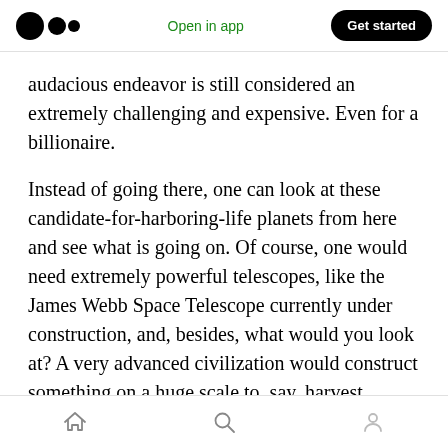Open in app | Get started
audacious endeavor is still considered an extremely challenging and expensive. Even for a billionaire.
Instead of going there, one can look at these candidate-for-harboring-life planets from here and see what is going on. Of course, one would need extremely powerful telescopes, like the James Webb Space Telescope currently under construction, and, besides, what would you look at? A very advanced civilization would construct something on a huge scale to, say, harvest
Home | Search | Profile